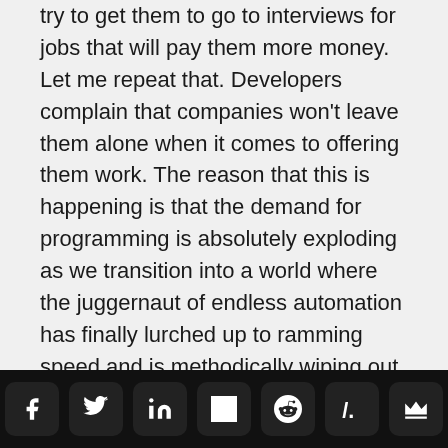try to get them to go to interviews for jobs that will pay them more money. Let me repeat that. Developers complain that companies won't leave them alone when it comes to offering them work. The reason that this is happening is that the demand for programming is absolutely exploding as we transition into a world where the juggernaut of endless automation has finally lurched up to ramming speed and is methodically wiping out other types of jobs at an unbelievable rate. Quite simply, they days of any company not being a “software company” are drawing to a close, as described in an article entitled “Developernomics.”
Social share bar with icons: Facebook, Twitter, LinkedIn, Hacker News, Reddit, Slashdot, Crown